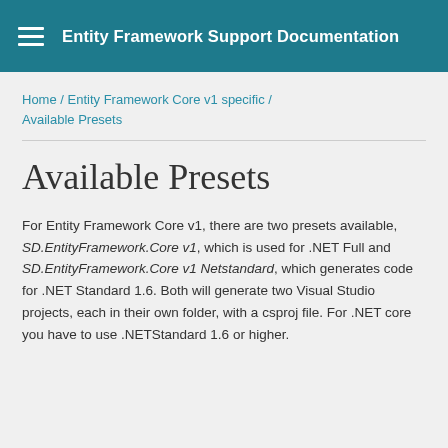Entity Framework Support Documentation
Home / Entity Framework Core v1 specific / Available Presets
Available Presets
For Entity Framework Core v1, there are two presets available, SD.EntityFramework.Core v1, which is used for .NET Full and SD.EntityFramework.Core v1 Netstandard, which generates code for .NET Standard 1.6. Both will generate two Visual Studio projects, each in their own folder, with a csproj file. For .NET core you have to use .NETStandard 1.6 or higher.